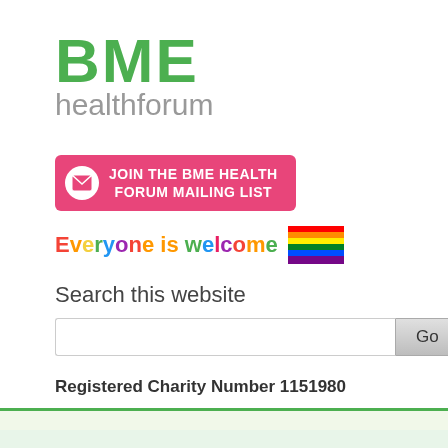[Figure (logo): BME healthforum logo with green BME text and grey healthforum text]
[Figure (infographic): Pink button reading JOIN THE BME HEALTH FORUM MAILING LIST with envelope icon]
Everyone is welcome [rainbow flag]
Search this website
Registered Charity Number 1151980
Home
About Us